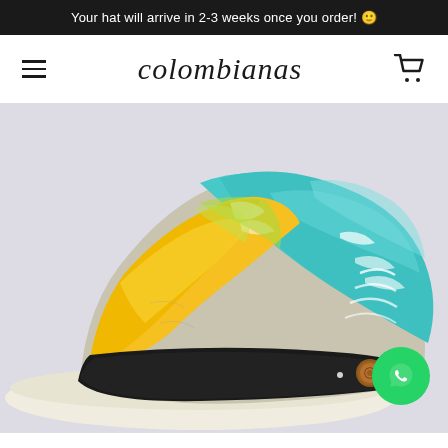Your hat will arrive in 2-3 weeks once you order! 😊
[Figure (logo): colombianas script logo with hamburger menu and shopping cart icons in navigation bar]
[Figure (photo): Close-up photo of a colombian straw hat (vueltiao style) with colorful painted design featuring turquoise/blue and yellow/orange paint strokes on the crown, black band with decorative brass button, on light gray background. WhatsApp contact button overlay in bottom right corner.]